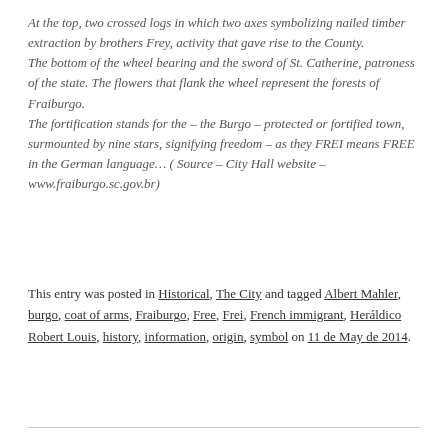At the top, two crossed logs in which two axes symbolizing nailed timber extraction by brothers Frey, activity that gave rise to the County. The bottom of the wheel bearing and the sword of St. Catherine, patroness of the state. The flowers that flank the wheel represent the forests of Fraiburgo. The fortification stands for the – the Burgo – protected or fortified town, surmounted by nine stars, signifying freedom – as they FREI means FREE in the German language… ( Source – City Hall website – www.fraiburgo.sc.gov.br)
This entry was posted in Historical, The City and tagged Albert Mahler, burgo, coat of arms, Fraiburgo, Free, Frei, French immigrant, Heráldico Robert Louis, history, information, origin, symbol on 11 de May de 2014.